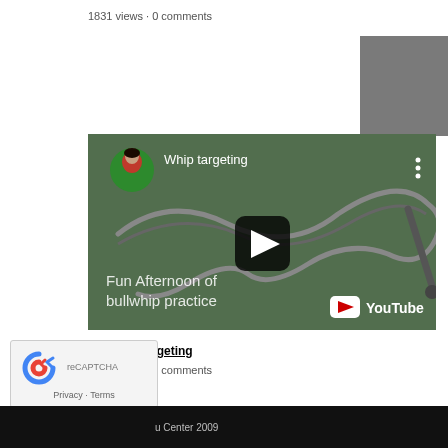1831 views · 0 comments
[Figure (screenshot): YouTube video thumbnail for 'Whip targeting' showing a bullwhip on a green surface. Includes avatar of a woman, play button, title 'Fun Afternoon of bullwhip practice', and YouTube logo.]
Bullwhip targeting
1944 views · 0 comments
[Figure (logo): reCAPTCHA widget with Privacy and Terms links]
u Center 2009